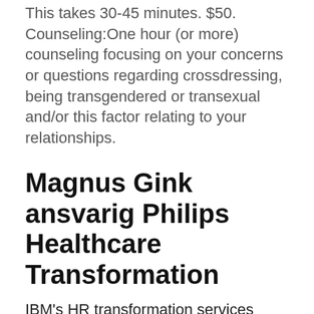This takes 30-45 minutes. $50. Counseling:One hour (or more) counseling focusing on your concerns or questions regarding crossdressing, being transgendered or transexual and/or this factor relating to your relationships.
Magnus Gink ansvarig Philips Healthcare Transformation
IBM's HR transformation services enable your HR digital transformation and improve your employee experience design processes and strategy. 2021-03-17 · Digital Transformation Services.
Learn more. transformation services Accelerate time-to-market with product safety design and compliance services . Global safety transportation